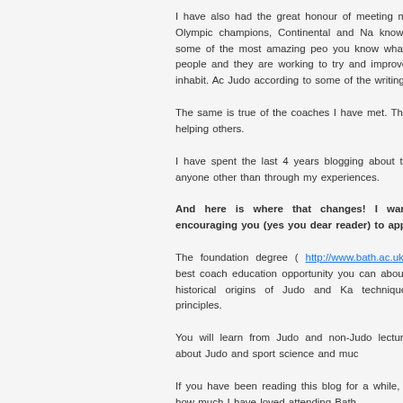I have also had the great honour of meeting many champions, Olympic champions, Continental and Na know what, they are some of the most amazing peo you know what, they are good people and they are working to try and improve the world they inhabit. Ac Judo according to some of the writings of Jigoro Kan
The same is true of the coaches I have met. These dedicated to helping others.
I have spent the last 4 years blogging about the cou sell it to anyone other than through my experiences.
And here is where that changes! I want to spend t encouraging you (yes you dear reader) to apply to
The foundation degree ( http://www.bath.ac.uk/sports ) is the best coach education opportunity you can about Judo, from the historical origins of Judo and Ka techniques and training principles.
You will learn from Judo and non-Judo lecture understanding about Judo and sport science and muc
If you have been reading this blog for a while, then you'll know how much I have loved attending Bath.